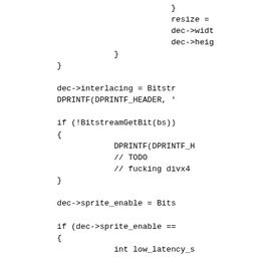Code fragment showing C source code with decoder functions including resize, dec->width, dec->height, dec->interlacing, DPRINTF, BitstreamGetBit, dec->sprite_enable, low_latency, and sprite variable declarations.